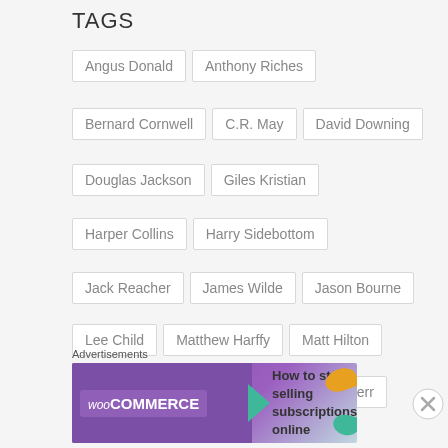TAGS
Angus Donald
Anthony Riches
Bernard Cornwell
C.R. May
David Downing
Douglas Jackson
Giles Kristian
Harper Collins
Harry Sidebottom
Jack Reacher
James Wilde
Jason Bourne
Lee Child
Matthew Harffy
Matt Hilton
Mitch Rapp
Nazi Germany
Philip Kerr
Robert Fabbri
Roman Empire
Rome
second world war
Simon & Schuster
[Figure (screenshot): WooCommerce advertisement banner: 'How to start selling subscriptions online']